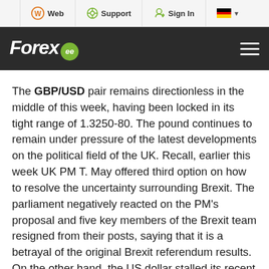Web | Support | Sign In | [DE flag]
[Figure (logo): Forex.ee logo on dark background with hamburger menu icon]
The GBP/USD pair remains directionless in the middle of this week, having been locked in its tight range of 1.3250-80. The pound continues to remain under pressure of the latest developments on the political field of the UK. Recall, earlier this week UK PM T. May offered third option on how to resolve the uncertainty surrounding Brexit. The parliament negatively reacted on the PM's proposal and five key members of the Brexit team resigned from their posts, saying that it is a betrayal of the original Brexit referendum results. On the other hand, the US dollar stalled its recent upside trend, offering major currencies a chance to recover some ground in the middle of this week. As